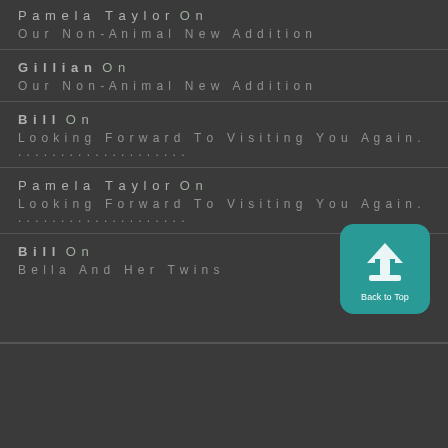Pamela Taylor On
Our Non-Animal New Addition
Gillian On
Our Non-Animal New Addition
Bill On
Looking Forward To Visiting You Again…
Pamela Taylor On
Looking Forward To Visiting You Again…
Bill On
Bella And Her Twins
[Figure (illustration): Teal rounded-rectangle button with a house/upload arrow icon and label Back to Top]